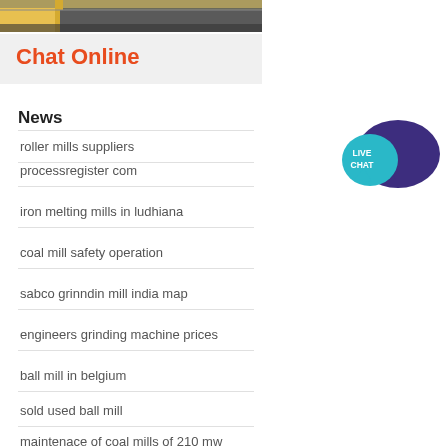[Figure (photo): Partial photo of industrial machinery or railway track with yellow and grey elements]
Chat Online
News
roller mills suppliers
processregister com
iron melting mills in ludhiana
coal mill safety operation
sabco grinndin mill india map
engineers grinding machine prices
ball mill in belgium
sold used ball mill
maintenace of coal mills of 210 mw
[Figure (illustration): Live Chat speech bubble badge icon with teal and dark blue colors]